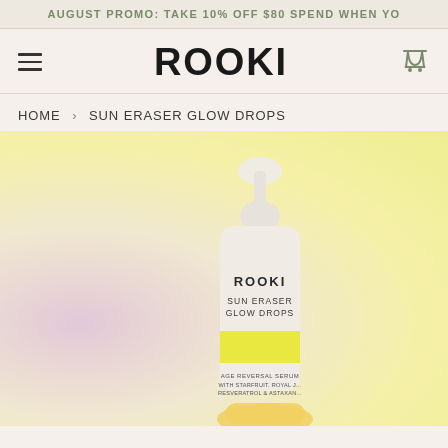AUGUST PROMO: TAKE 10% OFF $80 SPEND WHEN YO
ROOKI
HOME › SUN ERASER GLOW DROPS
[Figure (photo): A hand holding a white dropper bottle labeled ROOKI SUN ERASER GLOW DROPS with a yellow stripe and text reading AGE REVERSAL SERUM WITH STARFRUIT, ROYAL JELLY, RESVERATROL & ASTAXANTHIN, photographed against a gradient background of lavender, peach, and yellow.]